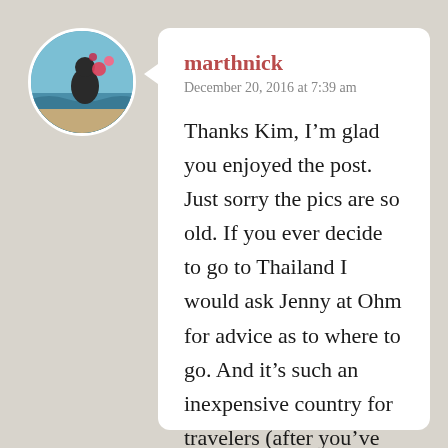[Figure (photo): Circular avatar photo of a person at a beach with colorful balloons or decorations in background]
marthnick
December 20, 2016 at 7:39 am
Thanks Kim, I’m glad you enjoyed the post. Just sorry the pics are so old. If you ever decide to go to Thailand I would ask Jenny at Ohm for advice as to where to go. And it’s such an inexpensive country for travelers (after you’ve paid for the flight, of course). Cambodia, too. That Tuk Tuk ride for the four of us from our hotel on the outskirts of Siem Reap to the